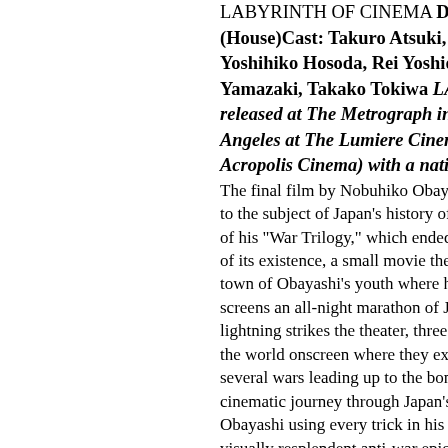LABYRINTH OF CINEMA Director: Nobuhiko Obayashi (House)Cast: Takuro Atsuki, Takahito Hosoyamada, Yoshihiko Hosoda, Rei Yoshida, Risako Omoto, Bunta Yamazaki, Takako Tokiwa LABYRINTH OF CINEMA will be released at The Metrograph in New York and in Los Angeles at The Lumiere Cinema on October 9 (and the Acropolis Cinema) with a nationwide
The final film by Nobuhiko Obayashi returns to the subject of Japan's history of war as part of his "War Trilogy," which ended with his life. On the last night of its existence, a small movie theater in the seaside town of Obayashi's youth where he spent his youth screens an all-night marathon of Japanese war films. When lightning strikes the theater, three young men are drawn into the world onscreen where they experience Japan across several wars leading up to the bombing of Hiroshima, a cinematic journey through Japan's past and present, with Obayashi using every trick in his book to create a visually resplendent anti-war epic that uses cinema as a means to change history. The culmination of a 50-year career worth celebrating. Born in Onomichi, Obayashi was a director, screenwriter who also made television advertisements. He began his career as a pioneer of Japanese experimental f